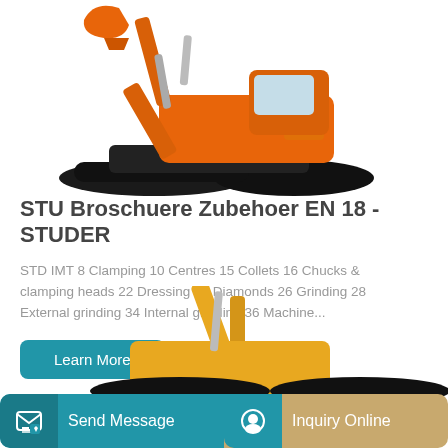[Figure (photo): Orange tracked excavator (construction machine) viewed from the side, with raised arm and bucket, on white background]
STU Broschuere Zubehoer EN 18 - STUDER
STD IMT 8 Clamping 10 Centres 15 Collets 16 Chucks & clamping heads 22 Dressing 24 Diamonds 26 Grinding 28 External grinding 34 Internal grinding 36 Machine...
[Figure (photo): Yellow/orange tracked excavator (construction machine) partially visible at bottom of page]
[Figure (other): Footer bar with Send Message button (blue) and Inquiry Online button (tan/gold)]